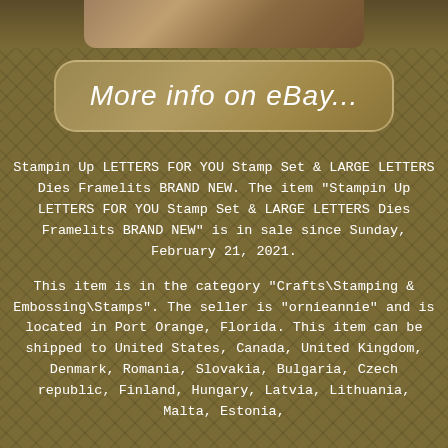[Figure (photo): Partial cropped product photo at top of page showing a textured/rocky surface, partially visible.]
[Figure (other): Button/link styled element reading 'More info on eBay...' with rounded rectangle border on brown textured background.]
Stampin Up LETTERS FOR YOU Stamp Set & LARGE LETTERS Dies Framelits BRAND NEW. The item "Stampin Up LETTERS FOR YOU Stamp Set & LARGE LETTERS Dies Framelits BRAND NEW" is in sale since Sunday, February 21, 2021.
This item is in the category "Crafts\Stamping & Embossing\Stamps". The seller is "ornieannie" and is located in Port Orange, Florida. This item can be shipped to United States, Canada, United Kingdom, Denmark, Romania, Slovakia, Bulgaria, Czech republic, Finland, Hungary, Latvia, Lithuania, Malta, Estonia,